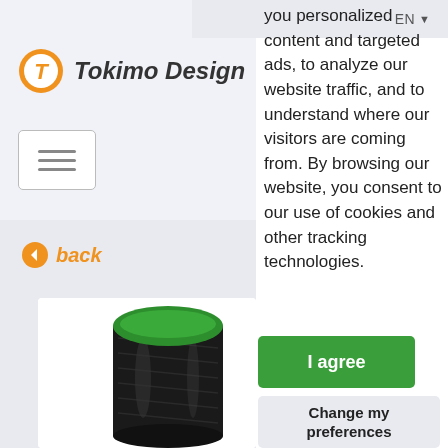[Figure (screenshot): Tokimo Design website screenshot showing navigation header with logo, hamburger menu, back link, and dark thread spool product image on left column; cookie consent notice on right column]
EN
[Figure (logo): Tokimo Design logo: orange circle with stylized T letter and italic bold text 'Tokimo Design']
back
[Figure (photo): Large black thread spool with green top cap photographed against white background]
you personalized content and targeted ads, to analyze our website traffic, and to understand where our visitors are coming from. By browsing our website, you consent to our use of cookies and other tracking technologies.
I agree
Change my preferences